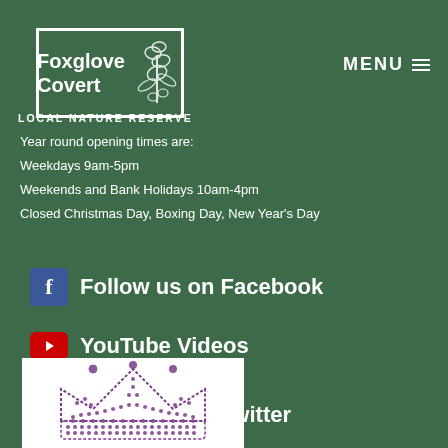[Figure (logo): Foxglove Covert Local Nature Reserve logo — white border box with text 'Foxglove Covert' and illustrated plant/bells on green background]
MENU ☰
LOCAL NATURE RESERVE
Year round opening times are:
Weekdays 9am-5pm
Weekends and Bank Holidays 10am-4pm
Closed Christmas Day, Boxing Day, New Year's Day
Follow us on Facebook
YouTube Videos
Follow us on Twitter
[Figure (illustration): Purple dotted/stippled crown illustration on white background]